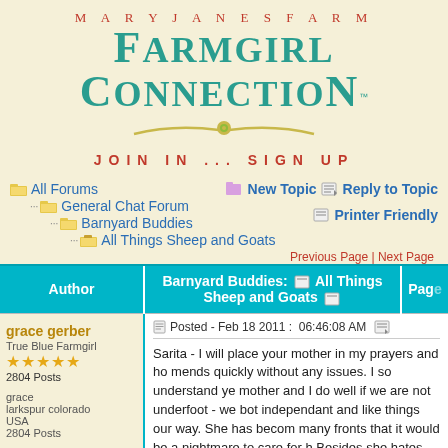MARYJANESFARM
Farmgirl Connection
JOIN IN ... SIGN UP
All Forums
General Chat Forum
Barnyard Buddies
All Things Sheep and Goats
New Topic  Reply to Topic  Printer Friendly
Previous Page | Next Page
| Author | Barnyard Buddies: All Things Sheep and Goats | Page |
| --- | --- | --- |
| grace gerber
True Blue Farmgirl
★★★★★
2804 Posts

grace
larkspur colorado
USA
2804 Posts | Posted - Feb 18 2011 :  06:46:08 AM

Sarita - I will place your mother in my prayers and ho mends quickly without any issues. I so understand ye mother and I do well if we are not underfoot - we bot independant and like things our way. She has becom many fronts that it would be a nightmare to care for h Besides she hates that my ground is uneven!! You re farms should have even, flat ground because who w where their walking? I will keep you in my prayers Sa find a way. |  |